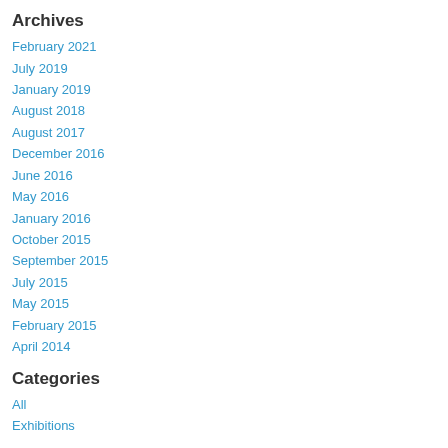Archives
February 2021
July 2019
January 2019
August 2018
August 2017
December 2016
June 2016
May 2016
January 2016
October 2015
September 2015
July 2015
May 2015
February 2015
April 2014
Categories
All
Exhibitions